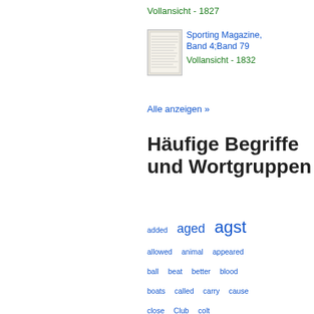Vollansicht - 1827
Sporting Magazine, Band 4;Band 79
Vollansicht - 1832
Alle anzeigen »
Häufige Begriffe und Wortgruppen
added  aged  agst  allowed  animal  appeared  ball  beat  better  blood  boats  called  carry  cause  close  Club  colt  consequence  considered  course  disease  distance